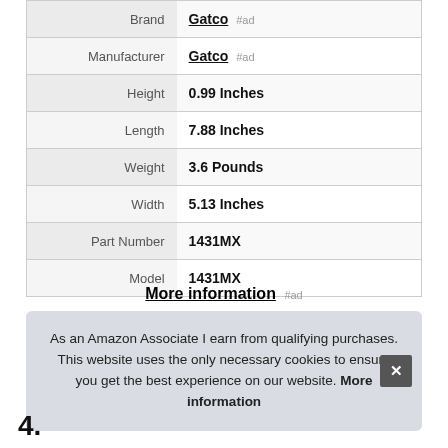| Attribute | Value |
| --- | --- |
| Brand | Gatco #ad |
| Manufacturer | Gatco #ad |
| Height | 0.99 Inches |
| Length | 7.88 Inches |
| Weight | 3.6 Pounds |
| Width | 5.13 Inches |
| Part Number | 1431MX |
| Model | 1431MX |
More information #ad
As an Amazon Associate I earn from qualifying purchases. This website uses the only necessary cookies to ensure you get the best experience on our website. More information